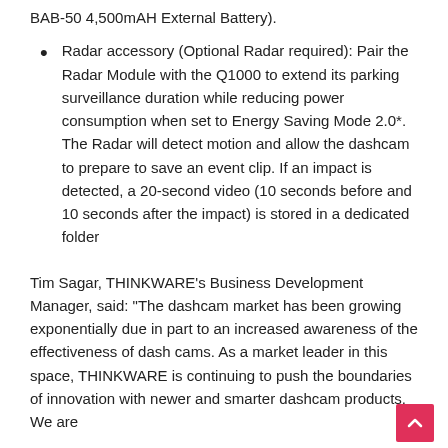BAB-50 4,500mAH External Battery).
Radar accessory (Optional Radar required): Pair the Radar Module with the Q1000 to extend its parking surveillance duration while reducing power consumption when set to Energy Saving Mode 2.0*. The Radar will detect motion and allow the dashcam to prepare to save an event clip. If an impact is detected, a 20-second video (10 seconds before and 10 seconds after the impact) is stored in a dedicated folder
Tim Sagar, THINKWARE’s Business Development Manager, said: “The dashcam market has been growing exponentially due in part to an increased awareness of the effectiveness of dash cams. As a market leader in this space, THINKWARE is continuing to push the boundaries of innovation with newer and smarter dashcam products. We are